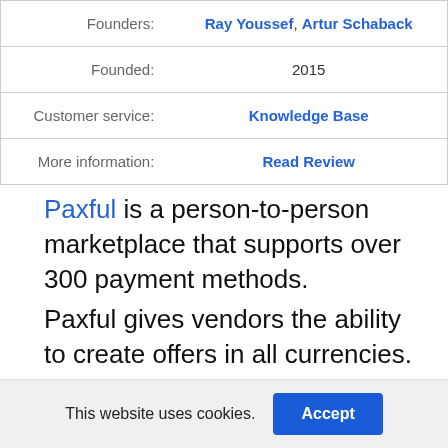|  |  |
| --- | --- |
| Founders: | Ray Youssef, Artur Schaback |
| Founded: | 2015 |
| Customer service: | Knowledge Base |
| More information: | Read Review |
Paxful is a person-to-person marketplace that supports over 300 payment methods.
Paxful gives vendors the ability to create offers in all currencies.
Pros
This website uses cookies.